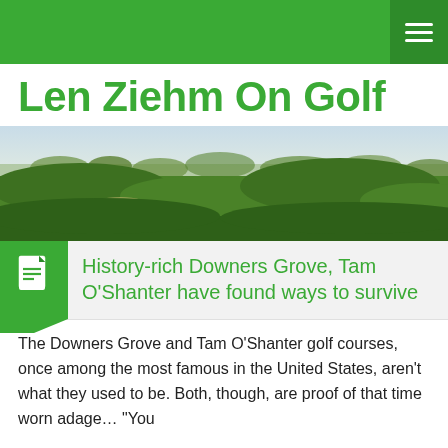Len Ziehm On Golf — navigation header bar
Len Ziehm On Golf
[Figure (photo): Panoramic photo of a golf course with rolling green fairways, bunkers, and trees in the background under a light sky.]
History-rich Downers Grove, Tam O'Shanter have found ways to survive
The Downers Grove and Tam O'Shanter golf courses, once among the most famous in the United States, aren't what they used to be. Both, though, are proof of that time worn adage… "You